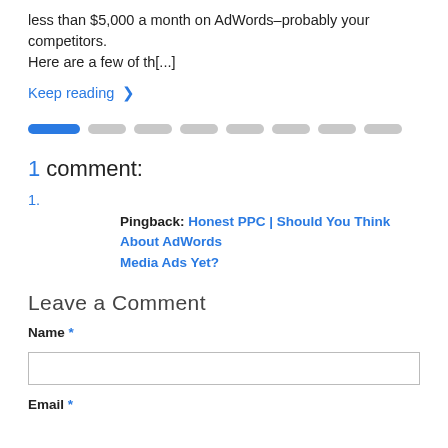less than $5,000 a month on AdWords–probably your competitors. Here are a few of th[...]
Keep reading >
[Figure (other): Pagination pills: one active blue pill followed by seven inactive gray pills]
1 comment:
1.
Pingback: Honest PPC | Should You Think About AdWords Media Ads Yet?
Leave a Comment
Name *
Email *